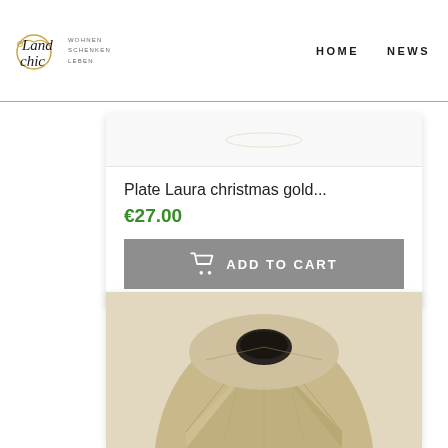[Figure (logo): Landchic logo with script lettering and circular decorative element, tagline WOHNEN SCHENKEN LEBEN]
HOME    NEWS
[Figure (photo): Top portion of a product card showing a partial plate image]
Plate Laura christmas gold...
€27.00
ADD TO CART
[Figure (photo): Wooden vase with faceted geometric surface and dark circular opening at top, natural raw wood texture]